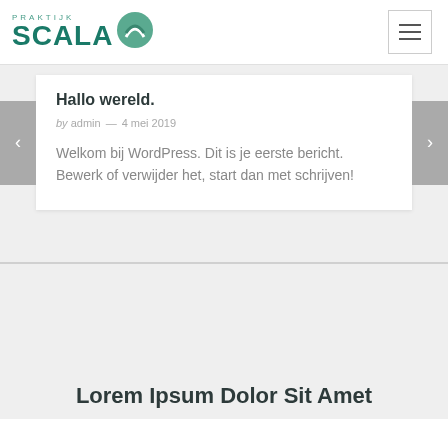[Figure (logo): Praktijk Scala logo with teal text and circular icon]
Hallo wereld.
by admin — 4 mei 2019
Welkom bij WordPress. Dit is je eerste bericht. Bewerk of verwijder het, start dan met schrijven!
Lorem Ipsum Dolor Sit Amet